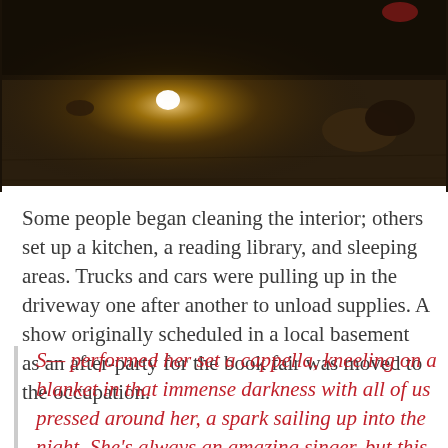[Figure (photo): Dark nighttime ground-level photograph showing a bright light source (lamp or lantern) illuminating a concrete or dirt floor, with scattered objects and bags visible in the dimly lit surroundings.]
Some people began cleaning the interior; others set up a kitchen, a reading library, and sleeping areas. Trucks and cars were pulling up in the driveway one after another to unload supplies. A show originally scheduled in a local basement as an after-party for the book fair was moved to the occupation.
S— performed her set a cappella, kneeling on a blanket in that immense darkness with all of us pressed around her, a spark sailing up into the night. She's always an amazing singer, but this